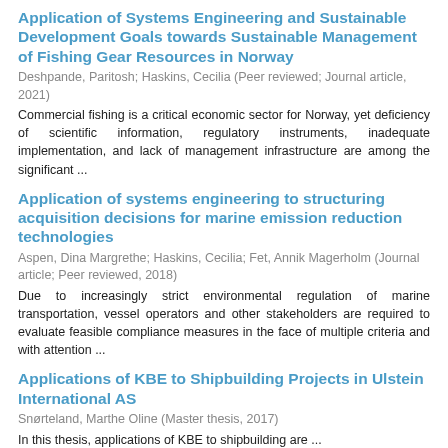Application of Systems Engineering and Sustainable Development Goals towards Sustainable Management of Fishing Gear Resources in Norway
Deshpande, Paritosh; Haskins, Cecilia (Peer reviewed; Journal article, 2021)
Commercial fishing is a critical economic sector for Norway, yet deficiency of scientific information, regulatory instruments, inadequate implementation, and lack of management infrastructure are among the significant ...
Application of systems engineering to structuring acquisition decisions for marine emission reduction technologies
Aspen, Dina Margrethe; Haskins, Cecilia; Fet, Annik Magerholm (Journal article; Peer reviewed, 2018)
Due to increasingly strict environmental regulation of marine transportation, vessel operators and other stakeholders are required to evaluate feasible compliance measures in the face of multiple criteria and with attention ...
Applications of KBE to Shipbuilding Projects in Ulstein International AS
Snørteland, Marthe Oline (Master thesis, 2017)
In this thesis, applications of KBE to shipbuilding are ...